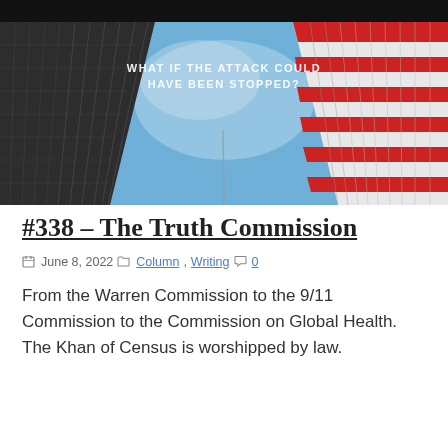[Figure (photo): Looking up between two tall glass skyscrapers toward a blue sky. The left building has a grey/dark glass facade with vertical lines. The right building has a red and white striped American flag pattern on its facade. Text overlaid on the sky reads: 'WHAT IF THE ATTACK COULD HAVE BEEN STOPPED?']
#338 – The Truth Commission
June 8, 2022  Column, Writing  0
From the Warren Commission to the 9/11 Commission to the Commission on Global Health. The Khan of Census is worshipped by law.